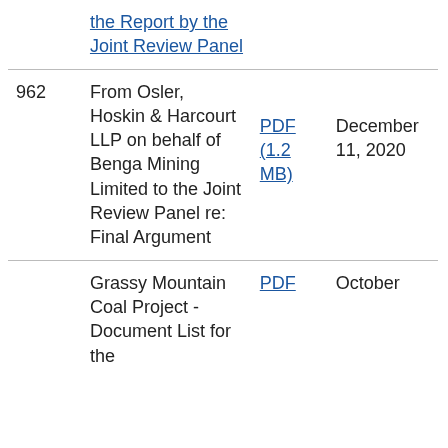| # | Description | File | Date |
| --- | --- | --- | --- |
|  | the Report by the Joint Review Panel |  |  |
| 962 | From Osler, Hoskin & Harcourt LLP on behalf of Benga Mining Limited to the Joint Review Panel re: Final Argument | PDF (1.2 MB) | December 11, 2020 |
|  | Grassy Mountain Coal Project - Document List for the | PDF | October |